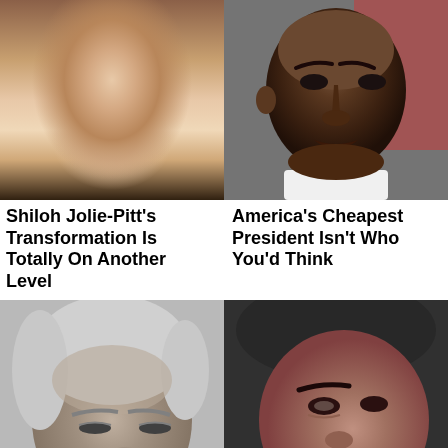[Figure (photo): Close-up photo of a young woman with styled hair and light eye makeup]
[Figure (photo): Close-up photo of a man with a serious expression]
Shiloh Jolie-Pitt's Transformation Is Totally On Another Level
America's Cheapest President Isn't Who You'd Think
[Figure (photo): Close-up photo of an older man with grey hair, eyes downcast]
[Figure (photo): Close-up photo of a woman with dark hair]
Save Up To $110 On New Tires Virginia Tire & Auto of Ashburn Fa..